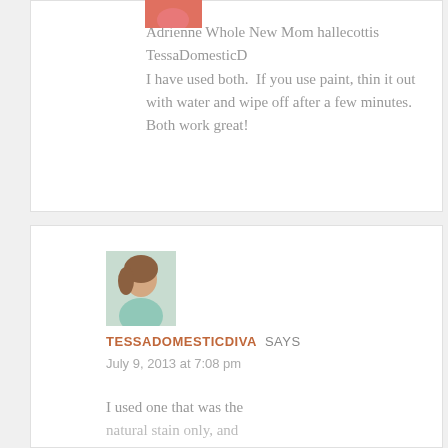[Figure (photo): Avatar photo of a person wearing a pink/red top, partially visible at top of page]
Adrienne Whole New Mom hallecottis TessaDomesticDiva I have used both.  If you use paint, thin it out with water and wipe off after a few minutes.  Both work great!
[Figure (photo): Avatar photo of a smiling woman with brown hair wearing a light blue top]
TESSADOMESTICDIVA SAYS
July 9, 2013 at 7:08 pm
I used one that was the natural stain only, and then I did two with a